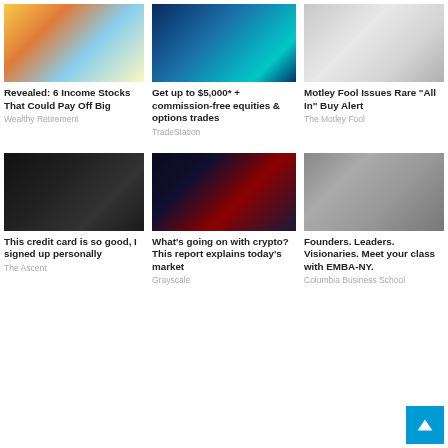[Figure (photo): Person relaxing at beach with sunglasses]
Revealed: 6 Income Stocks That Could Pay Off Big
Wealthy Retirement
[Figure (photo): Blue-toned tech image of person at computer]
Get up to $5,000* + commission-free equities & options trades
TradeStation
[Figure (photo): Frustrated businessman at laptop with papers flying]
Motley Fool Issues Rare "All In" Buy Alert
The Motley Fool
[Figure (photo): Credit card held by golden hand on dark background]
This credit card is so good, I signed up personally
The Ascent
[Figure (photo): Red crypto bear figure with glowing chart bars]
What's going on with crypto? This report explains today's market
Grayscale
[Figure (photo): Business people walking on city street]
Founders. Leaders. Visionaries. Meet your class with EMBA-NY.
Columbia Business School